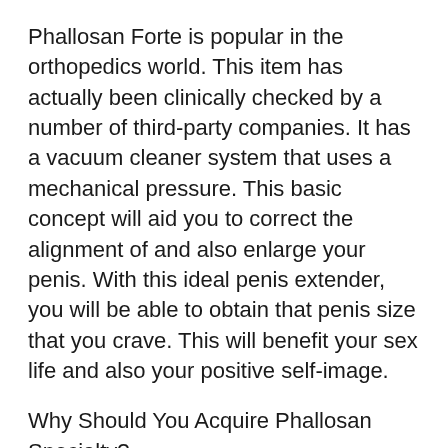Phallosan Forte is popular in the orthopedics world. This item has actually been clinically checked by a number of third-party companies. It has a vacuum cleaner system that uses a mechanical pressure. This basic concept will aid you to correct the alignment of and also enlarge your penis. With this ideal penis extender, you will be able to obtain that penis size that you crave. This will benefit your sex life and also your positive self-image.
Why Should You Acquire Phallosan Specialty?
• You will certainly accomplish all-natural development in girth as well as size without the requirement for medications, surgical